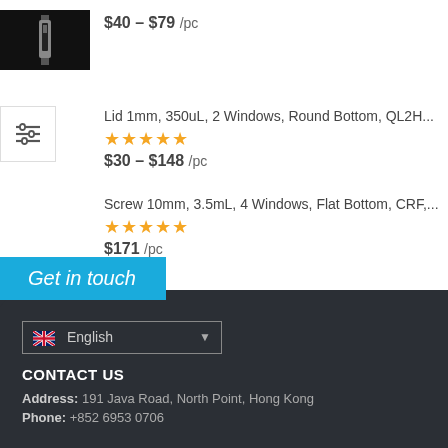[Figure (photo): Product image of a vial/cuvette on black background]
$40 – $79 /pc
Lid 1mm, 350uL, 2 Windows, Round Bottom, QL2H...
★★★★★
$30 – $148 /pc
Screw 10mm, 3.5mL, 4 Windows, Flat Bottom, CRF,...
★★★★★
$171 /pc
Get in touch
English
CONTACT US
Address: 191 Java Road, North Point, Hong Kong
Phone: +852 6953 0706